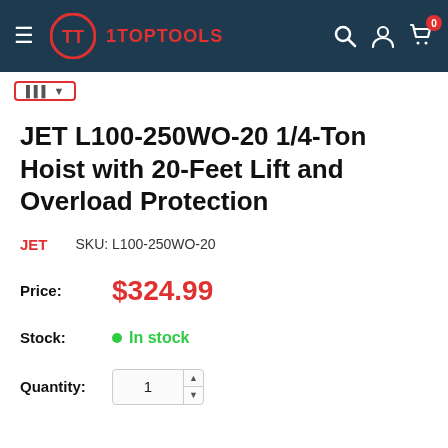1TOPTOOLS — navigation bar with hamburger menu, logo, brand name, search, account, and cart icons
JET L100-250WO-20 1/4-Ton Hoist with 20-Feet Lift and Overload Protection
JET    SKU: L100-250WO-20
Price:    $324.99
Stock:    • In stock
Quantity:    1